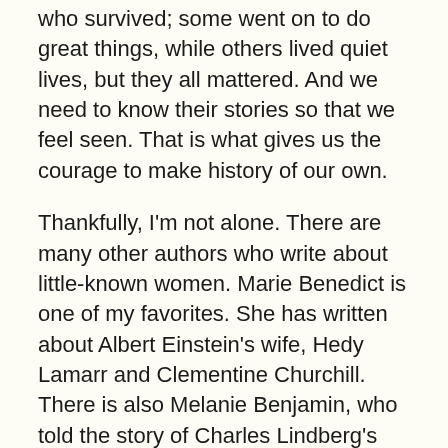who survived; some went on to do great things, while others lived quiet lives, but they all mattered. And we need to know their stories so that we feel seen. That is what gives us the courage to make history of our own.
Thankfully, I'm not alone. There are many other authors who write about little-known women. Marie Benedict is one of my favorites. She has written about Albert Einstein's wife, Hedy Lamarr and Clementine Churchill. There is also Melanie Benjamin, who told the story of Charles Lindberg's wife; Paula McLain, who wrote about Hemmingway's wives and Beryl Markham, a famous aviatrix; the duo of Stephanie Dray and Laura Kamoie, who have written about Thomas Jefferson's daughter, Patsy, and Eliza Hamilton; C.W. Gortner, who has told the stories of Coco Chanel, Sarah Bernhardt and Marlene Dietrich; and Mary Sharrat who has written